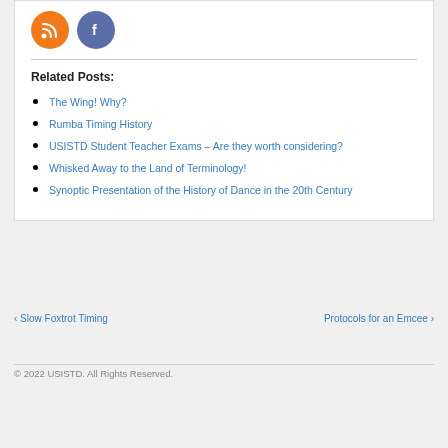[Figure (logo): RSS icon (orange circle) and Facebook icon (blue circle)]
Related Posts:
The Wing! Why?
Rumba Timing History
USISTD Student Teacher Exams – Are they worth considering?
Whisked Away to the Land of Terminology!
Synoptic Presentation of the History of Dance in the 20th Century
‹ Slow Foxtrot Timing
Protocols for an Emcee ›
© 2022 USISTD. All Rights Reserved.